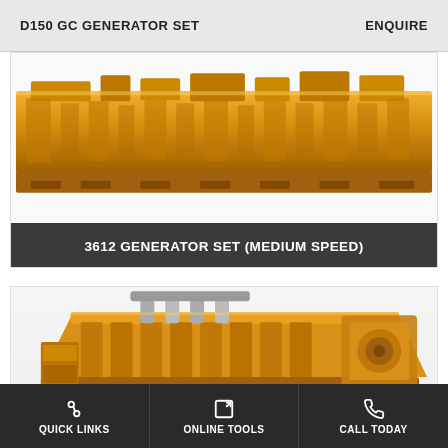D150 GC GENERATOR SET    ENQUIRE
[Figure (photo): Yellow Caterpillar 3612 Generator Set (medium speed) industrial generator, top/side profile view showing the long engine block in yellow with multiple exhaust and mechanical components]
3612 GENERATOR SET (MEDIUM SPEED)
[Figure (photo): Yellow Caterpillar large industrial generator set, angled side view showing the engine block, exhaust pipes, and generator end]
QUICK LINKS   ONLINE TOOLS   CALL TODAY